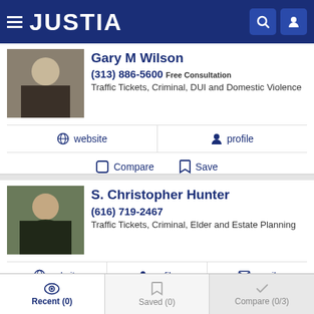JUSTIA
Gary M Wilson
(313) 886-5600 Free Consultation
Traffic Tickets, Criminal, DUI and Domestic Violence
website  profile  Compare  Save
S. Christopher Hunter
(616) 719-2467
Traffic Tickets, Criminal, Elder and Estate Planning
website  profile  email  Compare  Save
Recent (0)  Saved (0)  Compare (0/3)